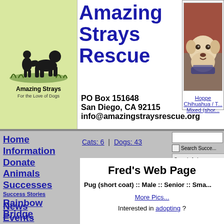[Figure (logo): Amazing Strays logo — silhouette of a dog and person on grass, text 'Amazing Strays For the Love of Dogs' on light green background]
Amazing Strays Rescue
PO Box 151648
San Diego, CA 92115
info@amazingstraysrescue.org
[Figure (photo): Photo of a Chihuahua / Terrier Mixed (short coat) dog named Hoppe, wearing a scarf]
Hoppe
Chihuahua / T...
Mixed (shor...
Home
Information
Donate
Animals
Successes
Success Stories
Rainbow Bridge
News
Events
Adoption
Cats: 6  |  Dogs: 43
Search Succe...
Search Anim...
Fred's Web Page
Pug (short coat) :: Male :: Senior :: Smal...
More Pics...
Interested in adopting ?